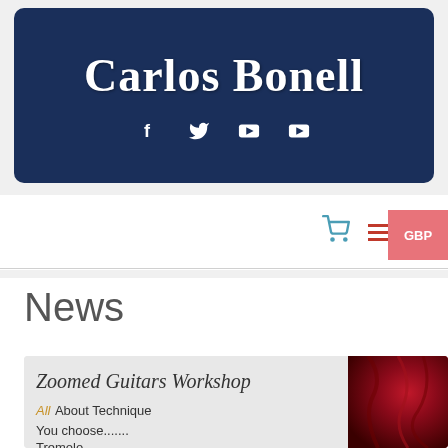Carlos Bonell
[Figure (other): Social media icons: Facebook (f), Twitter bird, YouTube play button x2]
[Figure (other): Navigation bar with shopping cart icon, hamburger menu icon, and GBP currency button]
News
[Figure (other): Workshop card thumbnail showing 'Zoomed Guitars Workshop' with text 'All About Technique', 'You choose.......', 'Tremolo' and a red fabric image on the right]